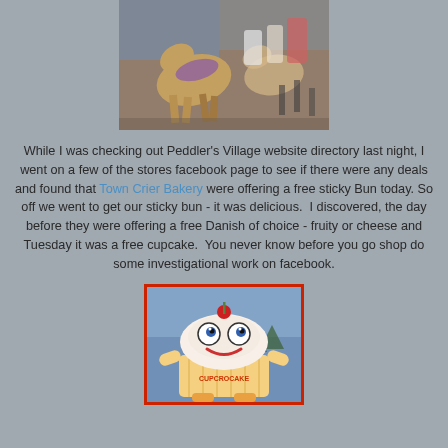[Figure (photo): Photo of carousel horses in an indoor carousel setting]
While I was checking out Peddler's Village website directory last night, I went on a few of the stores facebook page to see if there were any deals and found that Town Crier Bakery were offering a free sticky Bun today. So off we went to get our sticky bun - it was delicious.  I discovered, the day before they were offering a free Danish of choice - fruity or cheese and Tuesday it was a free cupcake.  You never know before you go shop do some investigational work on facebook.
[Figure (photo): Photo of a cupcake mascot costume character with a smiling face and googly eyes wearing a cupcake outfit outdoors]